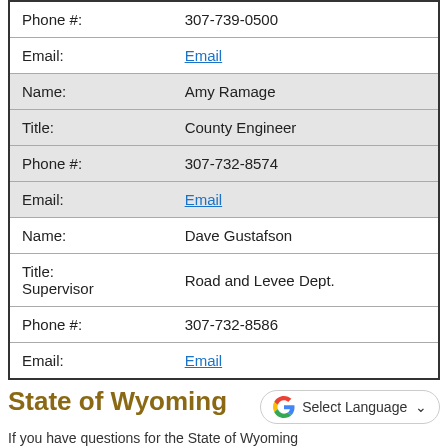| Field | Value |
| --- | --- |
| Phone #: | 307-739-0500 |
| Email: | Email |
| Name: | Amy Ramage |
| Title: | County Engineer |
| Phone #: | 307-732-8574 |
| Email: | Email |
| Name: | Dave Gustafson |
| Title: | Road and Levee Dept. Supervisor |
| Phone #: | 307-732-8586 |
| Email: | Email |
State of Wyoming
If you have questions for the State of Wyoming